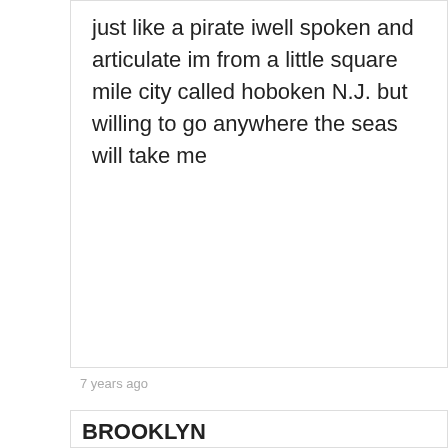just like a pirate iwell spoken and articulate im from a little square mile city called hoboken N.J. but willing to go anywhere the seas will take me
7 years ago
BROOKLYN
Hello!!! My name is Brooklyn and I'm a 17 year old with lots of potential!!!! I'm so excited and I have a ton of passion! Pirates of the caribbean is my all time favorite and I would love to be a part of it!!! I am a self-taught seamstress, and live in the us, but